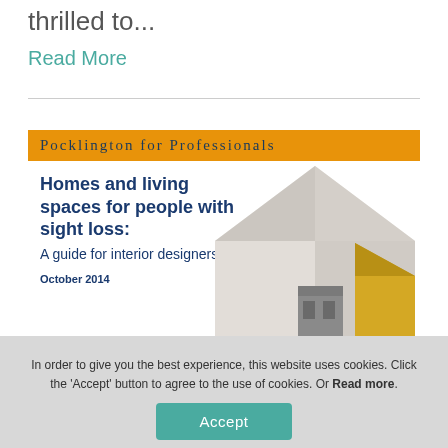thrilled to...
Read More
[Figure (illustration): Brochure cover for 'Pocklington for Professionals' showing a guide titled 'Homes and living spaces for people with sight loss: A guide for interior designers', October 2014, with an isometric house illustration in grey and yellow tones.]
In order to give you the best experience, this website uses cookies. Click the 'Accept' button to agree to the use of cookies. Or Read more.
Accept